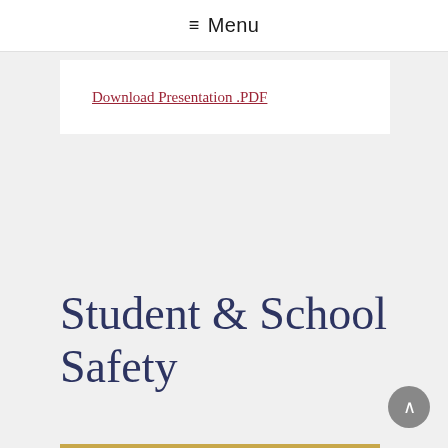≡ Menu
Download Presentation .PDF
Student & School Safety